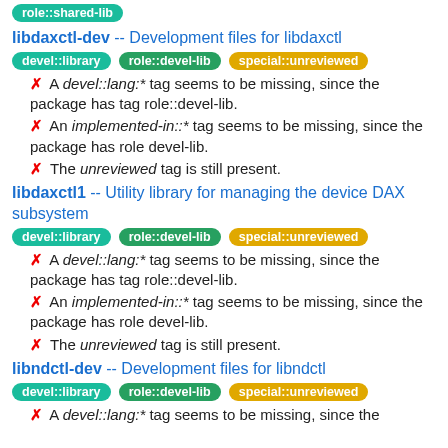role::shared-lib (tag badge)
libdaxctl-dev -- Development files for libdaxctl
devel::library  role::devel-lib  special::unreviewed
✗ A devel::lang:* tag seems to be missing, since the package has tag role::devel-lib.
✗ An implemented-in::* tag seems to be missing, since the package has role devel-lib.
✗ The unreviewed tag is still present.
libdaxctl1 -- Utility library for managing the device DAX subsystem
devel::library  role::devel-lib  special::unreviewed
✗ A devel::lang:* tag seems to be missing, since the package has tag role::devel-lib.
✗ An implemented-in::* tag seems to be missing, since the package has role devel-lib.
✗ The unreviewed tag is still present.
libndctl-dev -- Development files for libndctl
devel::library  role::devel-lib  special::unreviewed
✗ A devel::lang:* tag seems to be missing, since the